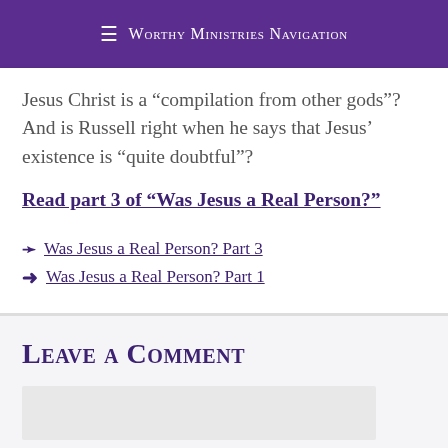≡ Worthy Ministries Navigation
Jesus Christ is a “compilation from other gods”? And is Russell right when he says that Jesus’ existence is “quite doubtful”?
Read part 3 of “Was Jesus a Real Person?”
❬ Was Jesus a Real Person? Part 3
❭ Was Jesus a Real Person? Part 1
Leave a Comment